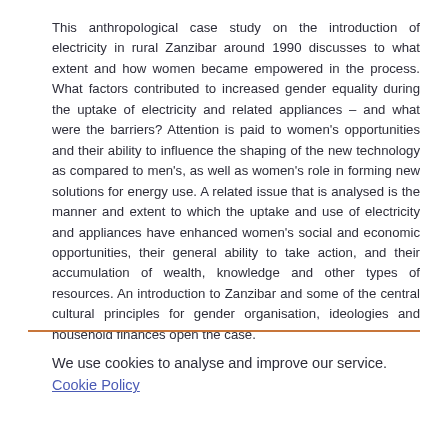This anthropological case study on the introduction of electricity in rural Zanzibar around 1990 discusses to what extent and how women became empowered in the process. What factors contributed to increased gender equality during the uptake of electricity and related appliances – and what were the barriers? Attention is paid to women's opportunities and their ability to influence the shaping of the new technology as compared to men's, as well as women's role in forming new solutions for energy use. A related issue that is analysed is the manner and extent to which the uptake and use of electricity and appliances have enhanced women's social and economic opportunities, their general ability to take action, and their accumulation of wealth, knowledge and other types of resources. An introduction to Zanzibar and some of the central cultural principles for gender organisation, ideologies and household finances open the case.
We use cookies to analyse and improve our service. Cookie Policy